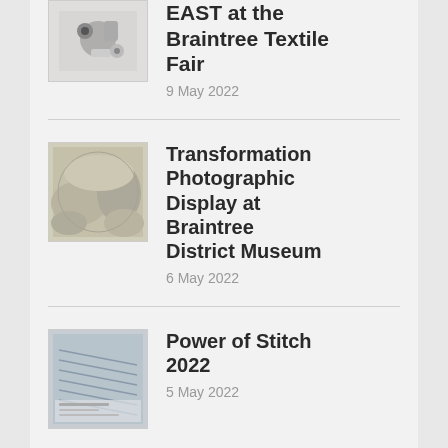EAST at the Braintree Textile Fair
9 May 2022
Transformation Photographic Display at Braintree District Museum
6 May 2022
Power of Stitch 2022
5 May 2022